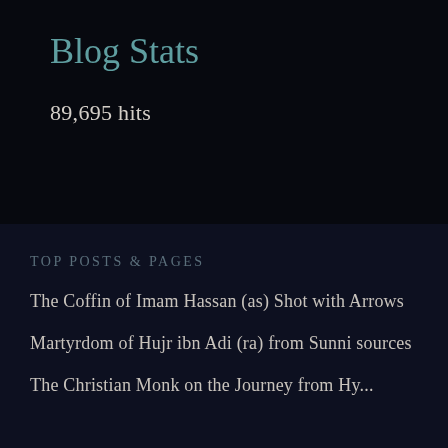Blog Stats
89,695 hits
TOP POSTS & PAGES
The Coffin of Imam Hassan (as) Shot with Arrows
Martyrdom of Hujr ibn Adi (ra) from Sunni sources
The Christian Monk on the Journey from Hyderabad to Roam